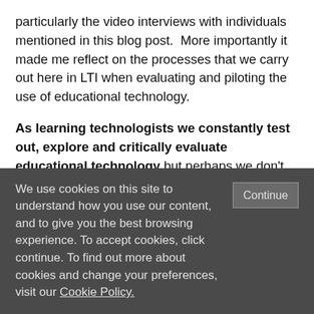particularly the video interviews with individuals mentioned in this blog post.  More importantly it made me reflect on the processes that we carry out here in LTI when evaluating and piloting the use of educational technology.

As learning technologists we constantly test out, explore and critically evaluate educational technology but perhaps we don't always communicate the specifics of this activity to colleagues.  Different tools have various benefits and constraints which must be taken into consideration including; the scalability, accessibility, associated pedagogy and use, data privacy and storage issues, costs and potential training or support required.  The same tool
We use cookies on this site to understand how you use our content, and to give you the best browsing experience. To accept cookies, click continue. To find out more about cookies and change your preferences, visit our Cookie Policy.